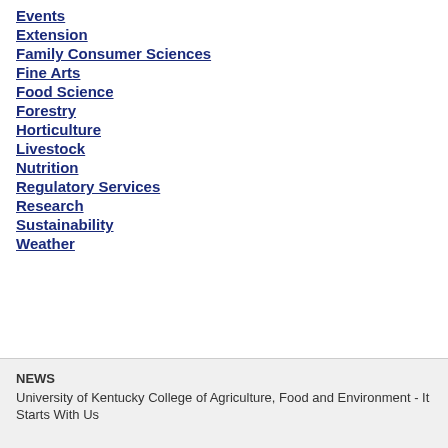Events
Extension
Family Consumer Sciences
Fine Arts
Food Science
Forestry
Horticulture
Livestock
Nutrition
Regulatory Services
Research
Sustainability
Weather
NEWS
University of Kentucky College of Agriculture, Food and Environment - It Starts With Us